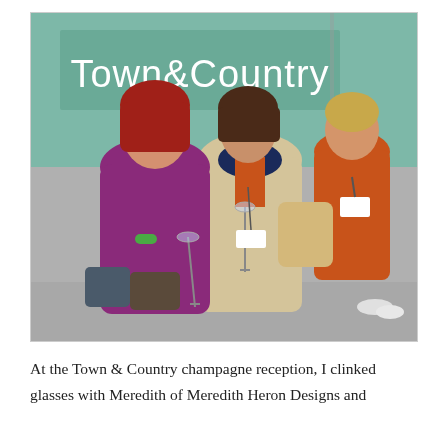[Figure (photo): Three women posing at a Town & Country champagne reception event. Two women in the foreground are holding champagne glasses and smiling at the camera. The woman on the left wears a purple top and has red hair; the woman in the middle wears a navy and orange top with a beige cardigan and carries a large beige bag. A third woman in an orange dress stands in the background. A green 'Town&Country' branded backdrop is visible behind them.]
At the Town & Country champagne reception, I clinked glasses with Meredith of Meredith Heron Designs and